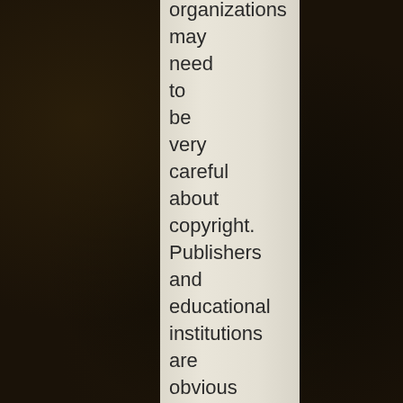organizations may need to be very careful about copyright. Publishers and educational institutions are obvious candidates here.
E. Trade Secrets: